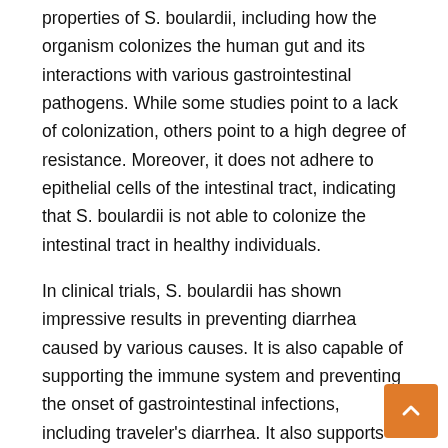properties of S. boulardii, including how the organism colonizes the human gut and its interactions with various gastrointestinal pathogens. While some studies point to a lack of colonization, others point to a high degree of resistance. Moreover, it does not adhere to epithelial cells of the intestinal tract, indicating that S. boulardii is not able to colonize the intestinal tract in healthy individuals.
In clinical trials, S. boulardii has shown impressive results in preventing diarrhea caused by various causes. It is also capable of supporting the immune system and preventing the onset of gastrointestinal infections, including traveler's diarrhea. It also supports the integrity of intestinal walls, ensuring that nutrients are retained within the gut. For this reason, it is an excellent choice for anyone suffering from any gastrointestinal disorder.